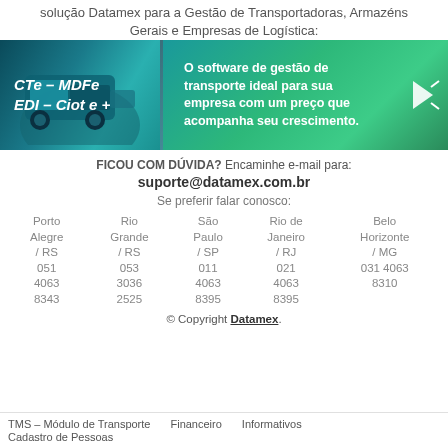solução Datamex para a Gestão de Transportadoras, Armazéns Gerais e Empresas de Logística:
[Figure (infographic): Datamex promotional banner with truck image on teal/green background. Left side shows italic bold white text: CTe - MDFe EDI - Ciot e +. Center shows bold white text: O software de gestão de transporte ideal para sua empresa com um preço que acompanha seu crescimento. Right side has a cursor/click icon.]
FICOU COM DÚVIDA? Encaminhe e-mail para: suporte@datamex.com.br
Se preferir falar conosco:
| Porto Alegre / RS | Rio Grande / RS | São Paulo / SP | Rio de Janeiro / RJ | Belo Horizonte / MG |
| --- | --- | --- | --- | --- |
| 051 4063 8343 | 053 3036 2525 | 011 4063 8395 | 021 4063 8395 | 031 4063 8310 |
© Copyright Datamex.
TMS – Módulo de Transporte   Financeiro   Informativos
Cadastro de Pessoas